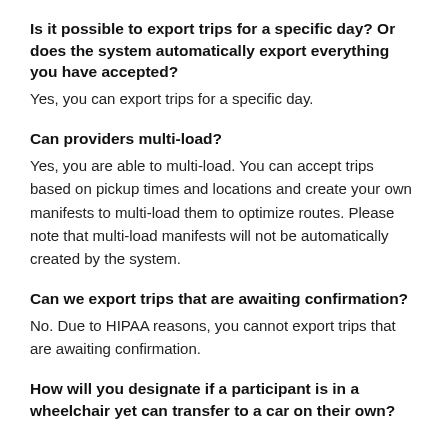Is it possible to export trips for a specific day? Or does the system automatically export everything you have accepted?
Yes, you can export trips for a specific day.
Can providers multi-load?
Yes, you are able to multi-load. You can accept trips based on pickup times and locations and create your own manifests to multi-load them to optimize routes. Please note that multi-load manifests will not be automatically created by the system.
Can we export trips that are awaiting confirmation?
No. Due to HIPAA reasons, you cannot export trips that are awaiting confirmation.
How will you designate if a participant is in a wheelchair yet can transfer to a car on their own?